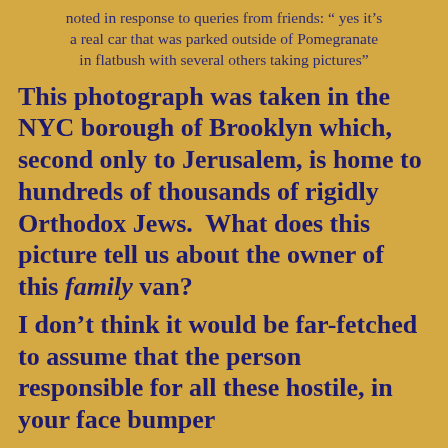noted in response to queries from friends: " yes it's a real car that was parked outside of Pomegranate in flatbush with several others taking pictures"
This photograph was taken in the NYC borough of Brooklyn which, second only to Jerusalem, is home to hundreds of thousands of rigidly Orthodox Jews.  What does this picture tell us about the owner of this family van?
I don’t think it would be far-fetched to assume that the person responsible for all these hostile, in your face bumper